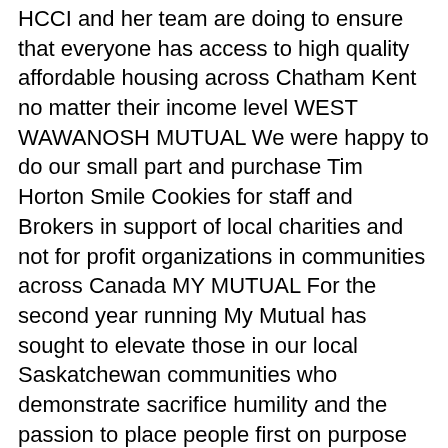HCCI and her team are doing to ensure that everyone has access to high quality affordable housing across Chatham Kent no matter their income level WEST WAWANOSH MUTUAL We were happy to do our small part and purchase Tim Horton Smile Cookies for staff and Brokers in support of local charities and not for profit organizations in communities across Canada MY MUTUAL For the second year running My Mutual has sought to elevate those in our local Saskatchewan communities who demonstrate sacrifice humility and the passion to place people first on purpose The participation of over 30 volunteer first responder teams in our Responder First initiative illuminates the growing need of service providers and challenges My Mutual to do our part to meet that need Henry and Paul were also pleased to attend a ribbon cutting ceremony at Dresden Area Central School for the opening of the new kindergarten playground equipment Maple Mutual had donated 2 500 to the project and received a lovely Thank You card from the kindergarten classes 12 This year s winners of the 10 000 grand prize serve the communities of Eagle Creek and Simpson Both groups struck a chord with My Mutual employees winning the